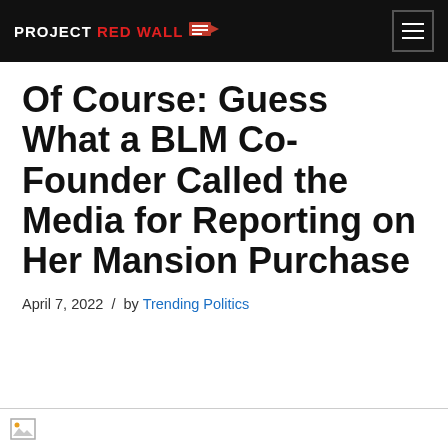PROJECT RED WALL
Of Course: Guess What a BLM Co-Founder Called the Media for Reporting on Her Mansion Purchase
April 7, 2022  /  by Trending Politics
[Figure (photo): Partially loaded image placeholder at the bottom of the page]